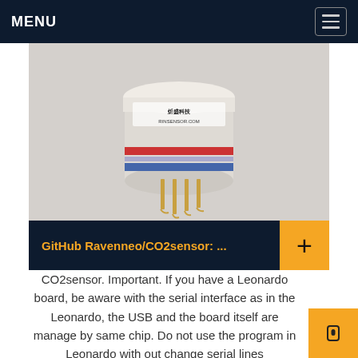MENU
[Figure (photo): Close-up photograph of a CO2 gas sensor component with gold pins and cylindrical body, labeled with Chinese text and RINSENSOR.COM]
GitHub Ravenneo/CO2sensor: ...
CO2sensor. Important. If you have a Leonardo board, be aware with the serial interface as in the Leonardo, the USB and the board itself are manage by same chip. Do not use the program in Leonardo with out change serial lines